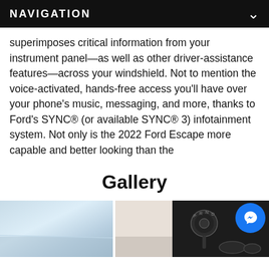NAVIGATION
superimposes critical information from your instrument panel—as well as other driver-assistance features—across your windshield. Not to mention the voice-activated, hands-free access you'll have over your phone's music, messaging, and more, thanks to Ford's SYNC® (or available SYNC® 3) infotainment system. Not only is the 2022 Ford Escape more capable and better looking than the
Gallery
[Figure (photo): Left photo: sky/horizon with blue tones, partial vehicle exterior visible]
[Figure (photo): Right photo: car interior showing gear shifter and center console in dark tones]